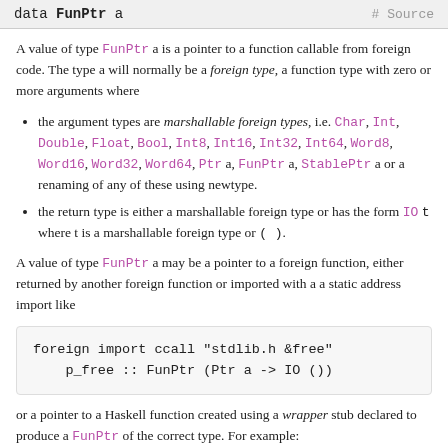data FunPtr a    # Source
A value of type FunPtr a is a pointer to a function callable from foreign code. The type a will normally be a foreign type, a function type with zero or more arguments where
the argument types are marshallable foreign types, i.e. Char, Int, Double, Float, Bool, Int8, Int16, Int32, Int64, Word8, Word16, Word32, Word64, Ptr a, FunPtr a, StablePtr a or a renaming of any of these using newtype.
the return type is either a marshallable foreign type or has the form IO t where t is a marshallable foreign type or ().
A value of type FunPtr a may be a pointer to a foreign function, either returned by another foreign function or imported with a a static address import like
foreign import ccall "stdlib.h &free"
    p_free :: FunPtr (Ptr a -> IO ())
or a pointer to a Haskell function created using a wrapper stub declared to produce a FunPtr of the correct type. For example: